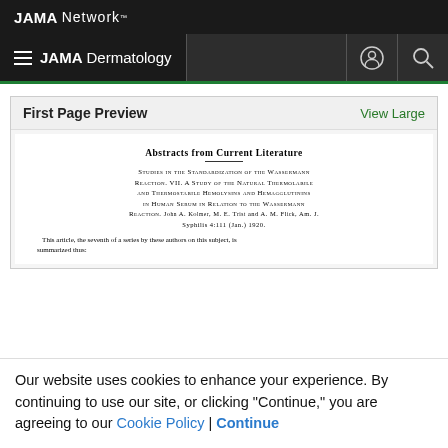JAMA Network™
☰ JAMA Dermatology
First Page Preview
View Large
Abstracts from Current Literature
STUDIES IN THE STANDARDIZATION OF THE WASSERMANN REACTION. VII. A STUDY OF THE NATURAL THERMOLABILE AND THERMOSTABILE HEMOLYSINS AND HEMAGGLUTININS IN HUMAN SERUM IN RELATION TO THE WASSERMANN REACTION. John A. Kolmer, M. E. Trist and A. M. Flick, Am. J. Syphilis 4:111 (Jan.) 1920.
This article, the seventh of a series by these authors on this subject, is summarized thus:
Our website uses cookies to enhance your experience. By continuing to use our site, or clicking "Continue," you are agreeing to our Cookie Policy | Continue